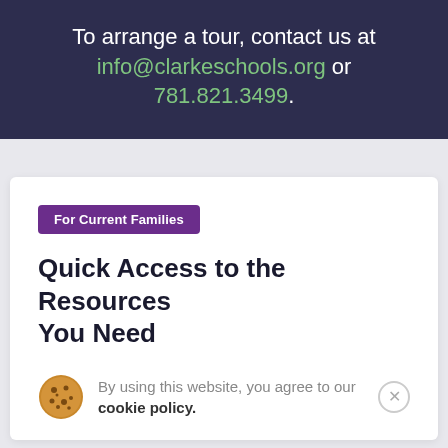To arrange a tour, contact us at info@clarkeschools.org or 781.821.3499.
For Current Families
Quick Access to the Resources You Need
By using this website, you agree to our cookie policy.